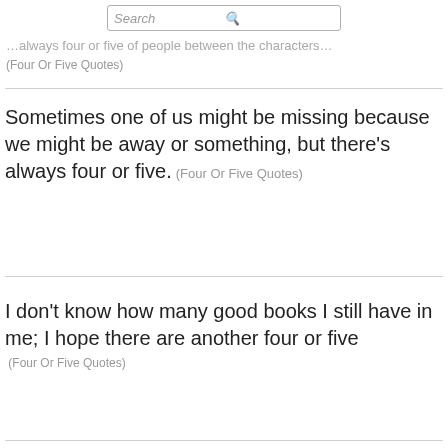Search
…always four or five of people between the characters…
(Four Or Five Quotes)
Sometimes one of us might be missing because we might be away or something, but there's always four or five. (Four Or Five Quotes)
I don't know how many good books I still have in me; I hope there are another four or five
(Four Or Five Quotes)